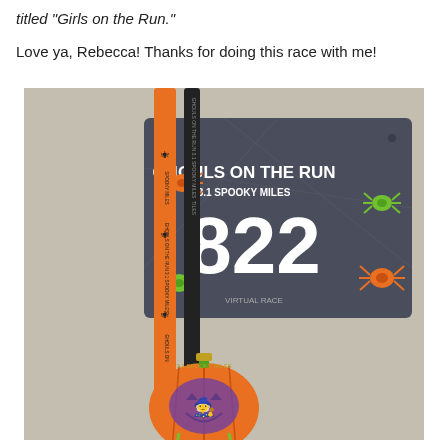titled "Girls on the Run."
Love ya, Rebecca!  Thanks for doing this race with me!
[Figure (photo): A race bib for 'Ghouls on the Run 3.1 Spooky Miles' showing bib number 822 with spider decorations, alongside a finisher medal with a pumpkin design and race lanyard with orange and black ribbons reading 'Spooky Miles Ghouls on the Run 3.1 Spooky Miles'.]